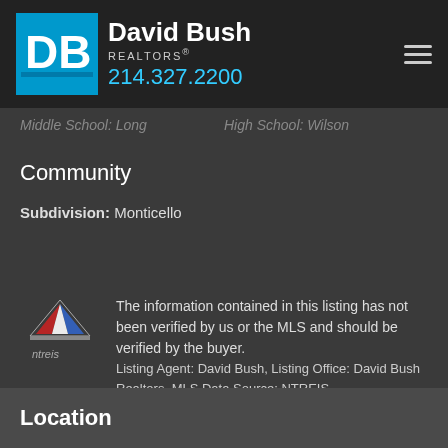David Bush REALTORS 214.327.2200
Middle School: Long   High School: Wilson
Community
Subdivision: Monticello
The information contained in this listing has not been verified by us or the MLS and should be verified by the buyer. Listing Agent: David Bush, Listing Office: David Bush Realtors, MLS Data Source: NTREIS Last Updated: Jun 6th, 2018. Source: NTREIS
Location